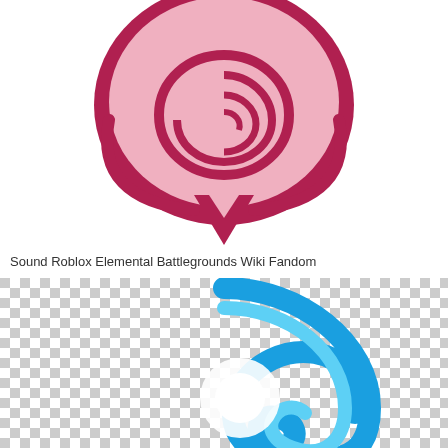[Figure (illustration): Pink/crimson cartoon sound or music icon — a circular badge shape with a swirl pattern inside, outlined in dark crimson/maroon, on a white background. Bottom has a pointed diamond-like tab.]
Sound Roblox Elemental Battlegrounds Wiki Fandom
[Figure (illustration): Blue cartoon sound or music icon — a circular swirl shape outlined in bright blue, with a lighter blue/white center glow, displayed on a checkered (transparent) background.]